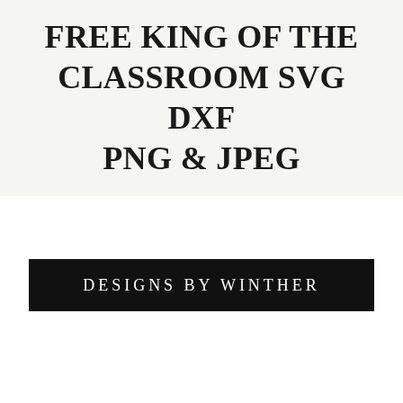FREE KING OF THE CLASSROOM SVG DXF PNG & JPEG
DESIGNS BY WINTHER